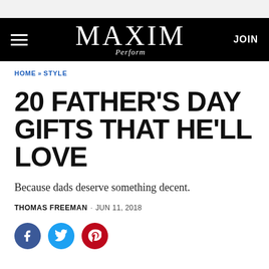MAXIM
HOME » STYLE
20 FATHER'S DAY GIFTS THAT HE'LL LOVE
Because dads deserve something decent.
THOMAS FREEMAN · JUN 11, 2018
[Figure (other): Social sharing icons: Facebook (blue circle), Twitter (light blue circle), Pinterest (red circle)]